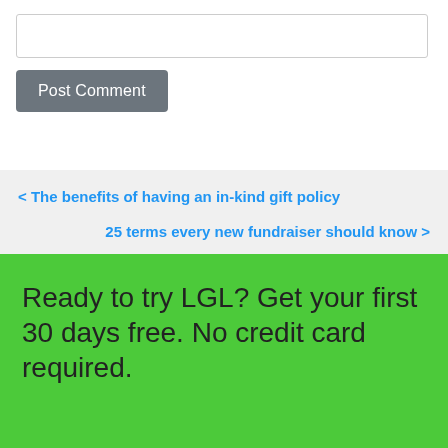[text input box]
Post Comment
< The benefits of having an in-kind gift policy
25 terms every new fundraiser should know >
Ready to try LGL? Get your first 30 days free. No credit card required.